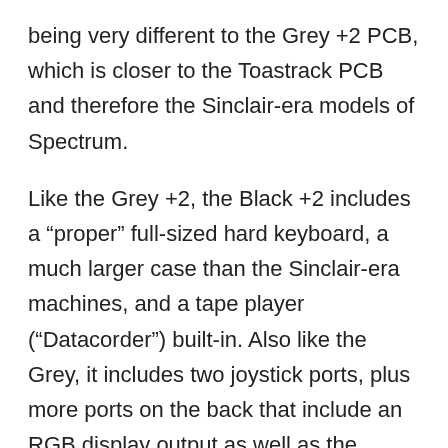being very different to the Grey +2 PCB, which is closer to the Toastrack PCB and therefore the Sinclair-era models of Spectrum.
Like the Grey +2, the Black +2 includes a “proper” full-sized hard keyboard, a much larger case than the Sinclair-era machines, and a tape player (“Datacorder”) built-in. Also like the Grey, it includes two joystick ports, plus more ports on the back that include an RGB display output as well as the normal RF output. This latter similarity is like the Toastrack and Grey.
Again, like the Grey +2 – although the case